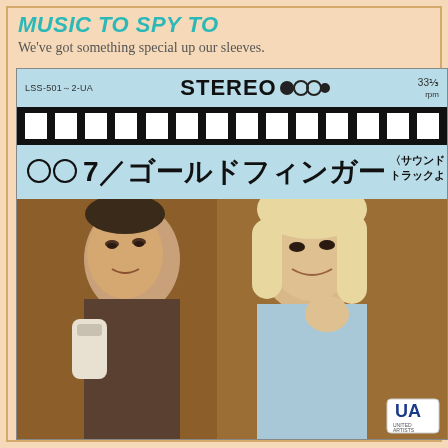Music To Spy To
We've got something special up our sleeves.
[Figure (photo): Japanese LP record album cover for 007 Goldfinger (ゴールドフィンガー) soundtrack. Top section shows light blue background with catalog number LSS-501~2-UA, STEREO logo with graphic dots, and 33⅓rpm label. Below is a black film strip with white rectangular cutouts. Then a light blue band with '007／ゴールドフィンガー〈サウンドトラックより〉' in large bold text. The main image shows two actors from the film — a man in a suit holding a phone receiver (James Bond/Sean Connery) and a blonde woman (Jill Masterson/Shirley Eaton). United Artists logo appears in lower right corner.]